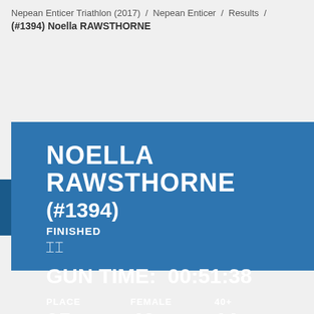Nepean Enticer Triathlon (2017) / Nepean Enticer / Results / (#1394) Noella RAWSTHORNE
NOELLA RAWSTHORNE
(#1394)
FINISHED
GUN TIME: 00:51:38
| PLACE | FEMALE | 40+ |
| --- | --- | --- |
| 95 OF 108 | 40 OF 51 | 11 OF 15 |